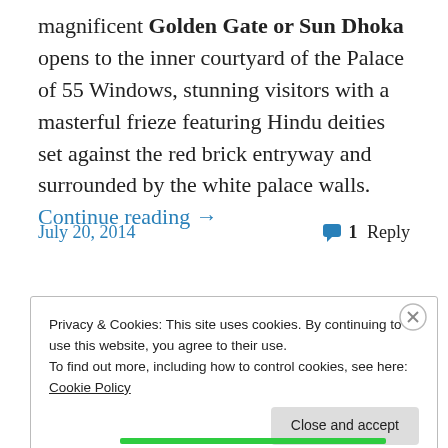magnificent Golden Gate or Sun Dhoka opens to the inner courtyard of the Palace of 55 Windows, stunning visitors with a masterful frieze featuring Hindu deities set against the red brick entryway and surrounded by the white palace walls. Continue reading →
July 20, 2014    💬 1 Reply
Privacy & Cookies: This site uses cookies. By continuing to use this website, you agree to their use. To find out more, including how to control cookies, see here: Cookie Policy
Close and accept